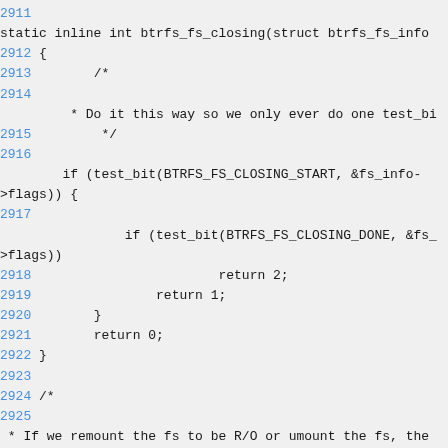Source code listing showing btrfs_fs_closing function, lines 2911-2927